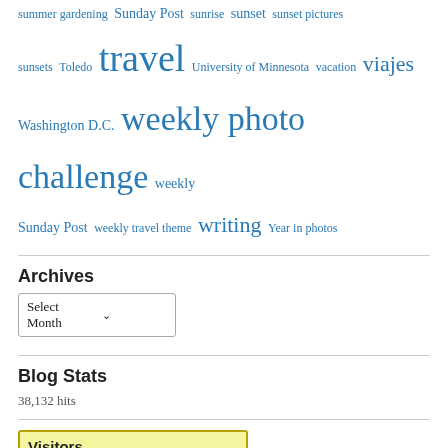summer gardening Sunday Post sunrise sunset sunset pictures sunsets Toledo travel University of Minnesota vacation viajes Washington D.C. weekly photo challenge weekly Sunday Post weekly travel theme writing Year in photos
Archives
Select Month (dropdown)
Blog Stats
38,132 hits
[Figure (infographic): Visitors widget showing country flags, country codes, and visitor counts. US 32,143 | RU 165 | ES 956 | CZ 142]